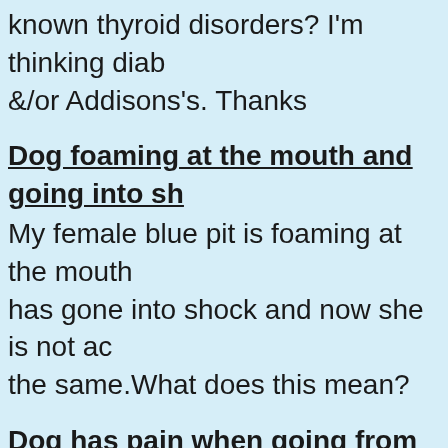known thyroid disorders? I'm thinking diab &/or Addisons's. Thanks
Dog foaming at the mouth and going into sh
My female blue pit is foaming at the mouth has gone into shock and now she is not ac the same.What does this mean?
Dog has pain when going from standing to sitting or lying down
My 3 year old lab has pain when going fro standing to sitting or lying down. He seems be pain free when standing, running and jumping. He also seems to hurt when goin or down stairs. He doesn't seem to be sore where on his body, but he whines all night laying down. He is having normal bowel